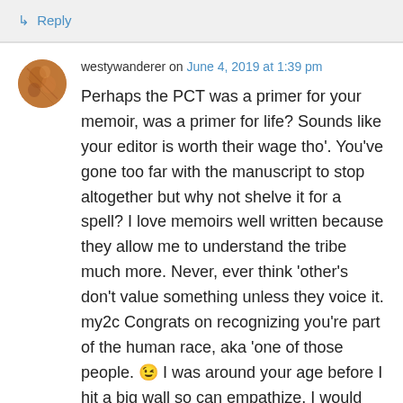↳ Reply
westywanderer on June 4, 2019 at 1:39 pm
Perhaps the PCT was a primer for your memoir, was a primer for life? Sounds like your editor is worth their wage tho'. You've gone too far with the manuscript to stop altogether but why not shelve it for a spell? I love memoirs well written because they allow me to understand the tribe much more. Never, ever think 'other's don't value something unless they voice it. my2c Congrats on recognizing you're part of the human race, aka 'one of those people. 😉 I was around your age before I hit a big wall so can empathize. I would never trade who I was before all the